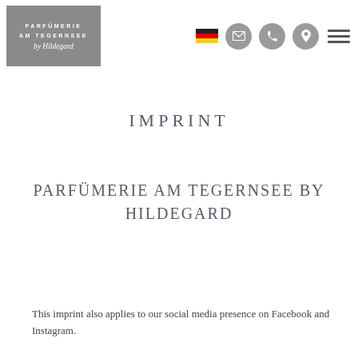[Figure (logo): Parfümerie am Tegernsee by Hildegard logo — grey rectangle with white text and script]
[Figure (infographic): Navigation header icons: German flag, email circle, phone circle, location circle, hamburger menu]
IMPRINT
PARFÜMERIE AM TEGERNSEE BY HILDEGARD
This imprint also applies to our social media presence on Facebook and Instagram.